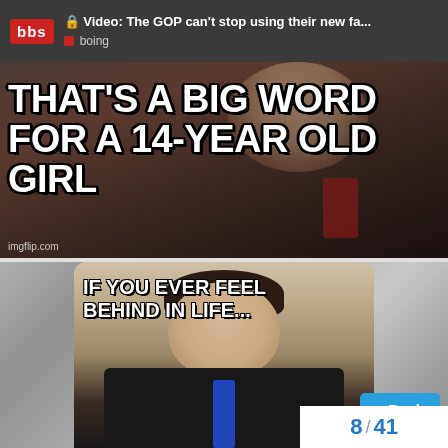🔒 Video: The GOP can't stop using their new fa... boing
[Figure (photo): Meme image with text 'THAT'S A BIG WORD FOR A 14-YEAR OLD GIRL' over a photo of a person in a suit with red tie. Watermark: imgflip.com]
[Figure (photo): Meme image with text 'IF YOU EVER FEEL BEHIND IN LIFE...' over a photo of a man in a dark suit with blue tie.]
8 / 41